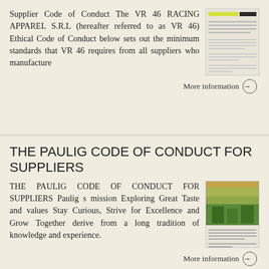Supplier Code of Conduct The VR 46 RACING APPAREL S.R.L (hereafter referred to as VR 46) Ethical Code of Conduct below sets out the minimum standards that VR 46 requires from all suppliers who manufacture
[Figure (other): Thumbnail image of a document page with yellow highlight bar at top]
More information →
THE PAULIG CODE OF CONDUCT FOR SUPPLIERS
THE PAULIG CODE OF CONDUCT FOR SUPPLIERS Paulig s mission Exploring Great Taste and values Stay Curious, Strive for Excellence and Grow Together derive from a long tradition of knowledge and experience.
[Figure (photo): Thumbnail image of a document page showing natural/outdoor photography]
More information →
Each year, the Husqvarna Group reports